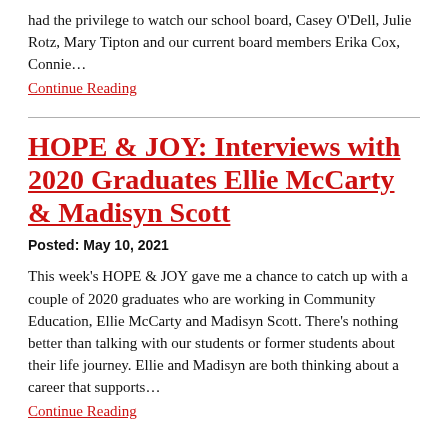had the privilege to watch our school board, Casey O'Dell, Julie Rotz, Mary Tipton and our current board members Erika Cox, Connie…
Continue Reading
HOPE & JOY: Interviews with 2020 Graduates Ellie McCarty & Madisyn Scott
Posted: May 10, 2021
This week's HOPE & JOY gave me a chance to catch up with a couple of 2020 graduates who are working in Community Education, Ellie McCarty and Madisyn Scott. There's nothing better than talking with our students or former students about their life journey. Ellie and Madisyn are both thinking about a career that supports…
Continue Reading